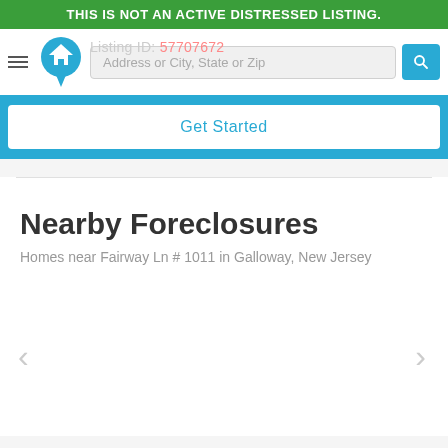THIS IS NOT AN ACTIVE DISTRESSED LISTING.
[Figure (screenshot): Navigation bar with hamburger menu, house logo icon, address search field, and teal search button]
[Figure (screenshot): Teal background bar with a white 'Get Started' button]
Nearby Foreclosures
Homes near Fairway Ln # 1011 in Galloway, New Jersey